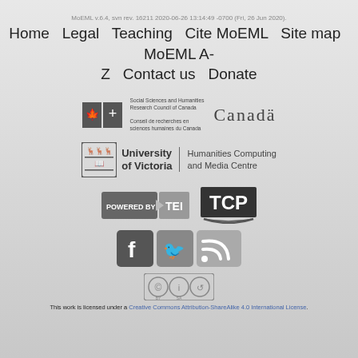MoEML v.6.4, svn rev. 16211 2020-06-26 13:14:49 -0700 (Fri, 26 Jun 2020).
Home   Legal   Teaching   Cite MoEML   Site map   MoEML A-Z   Contact us   Donate
[Figure (logo): Social Sciences and Humanities Research Council of Canada / Conseil de recherches en sciences humaines du Canada | Canada logo]
[Figure (logo): University of Victoria | Humanities Computing and Media Centre logo]
[Figure (logo): Powered by TEI logo]
[Figure (logo): TCP logo]
[Figure (logo): Facebook, Twitter, and RSS feed social media icons]
[Figure (logo): Creative Commons Attribution-ShareAlike 4.0 International License badge]
This work is licensed under a Creative Commons Attribution-ShareAlike 4.0 International License.